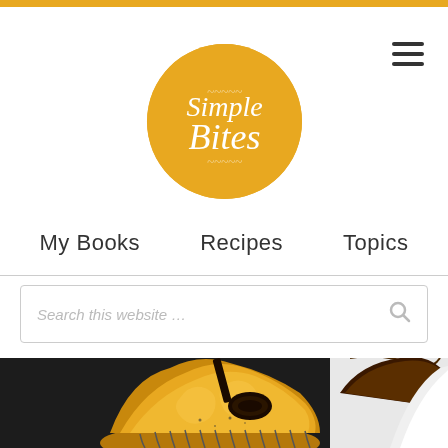[Figure (logo): Simple Bites logo — orange circle with script text 'Simple Bites' in white]
My Books   Recipes   Topics
Search this website …
[Figure (photo): Close-up photo of cupcakes with frosting — foreground cupcake has golden/yellow frosting with a dark chocolate garnish; background cupcakes show chocolate and vanilla frosting]